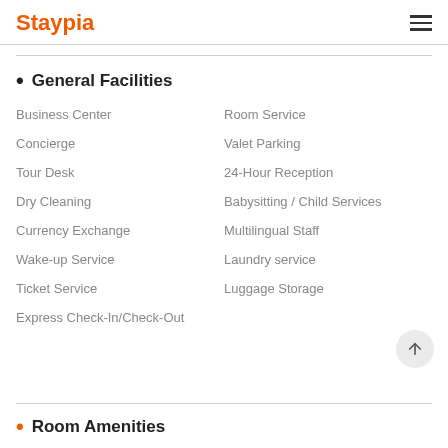Staypia
• General Facilities
Business Center
Room Service
Concierge
Valet Parking
Tour Desk
24-Hour Reception
Dry Cleaning
Babysitting / Child Services
Currency Exchange
Multilingual Staff
Wake-up Service
Laundry service
Ticket Service
Luggage Storage
Express Check-In/Check-Out
• Room Amenities